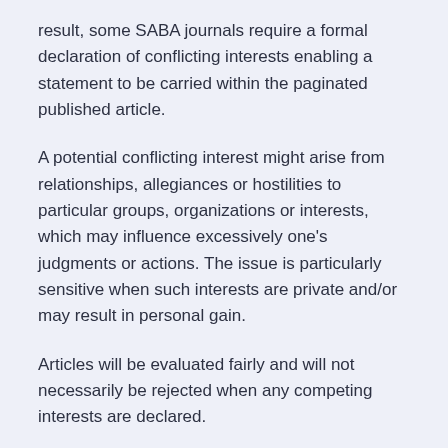result, some SABA journals require a formal declaration of conflicting interests enabling a statement to be carried within the paginated published article.
A potential conflicting interest might arise from relationships, allegiances or hostilities to particular groups, organizations or interests, which may influence excessively one's judgments or actions. The issue is particularly sensitive when such interests are private and/or may result in personal gain.
Articles will be evaluated fairly and will not necessarily be rejected when any competing interests are declared.
Examples of conflicts of interest might include the following, although it is not an exhaustive list:
Having received fees for consulting.
Having received research funding.
Having been employed by a related company.